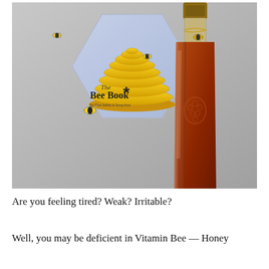[Figure (photo): A photo showing 'The Bee Book' — a hexagonal-shaped book with a yellow beehive and bees on the cover, placed on a light surface next to a glass honey bottle with amber-colored honey and a small decorative bee charm on the neck.]
Are you feeling tired? Weak? Irritable?
Well, you may be deficient in Vitamin Bee — Honey